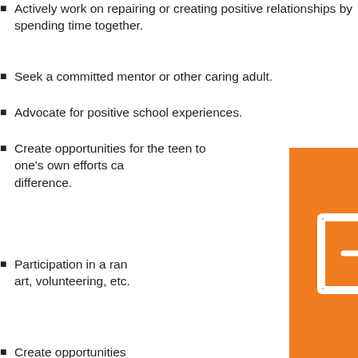Actively work on repairing or creating positive relationships by spending time together.
Seek a committed mentor or other caring adult.
Advocate for positive school experiences.
Create opportunities for the teen to experience helping others and see that one's own efforts can make a difference.
Participation in a range of activities such as sports, art, volunteering, etc.
Create opportunities for employment, including part-time work.
Do not excessively shelter teenagers; they need opportunities to develop coping skills.
Expect to have to do these things again and again.
That's Not Cool is a national public education campaign addressing controlling, pressuring, and threatening behavior as forms of teen dating abuse. The interactive web site helps teens draw their own "digital line" on what is a healthy and unhealthy relationship.
These tip sheets created by the National Alliance on Mental Health provide information on the warning signs of mental health issues.